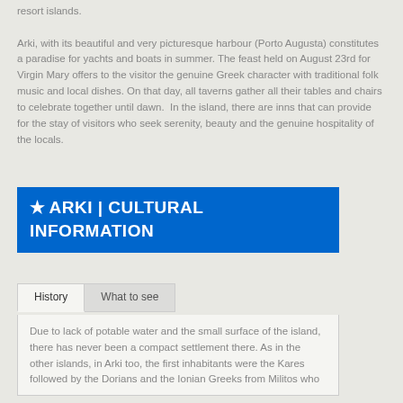resort islands. Arki, with its beautiful and very picturesque harbour (Porto Augusta) constitutes a paradise for yachts and boats in summer. The feast held on August 23rd for Virgin Mary offers to the visitor the genuine Greek character with traditional folk music and local dishes. On that day, all taverns gather all their tables and chairs to celebrate together until dawn. In the island, there are inns that can provide for the stay of visitors who seek serenity, beauty and the genuine hospitality of the locals.
★ ARKI | CULTURAL INFORMATION
History | What to see
Due to lack of potable water and the small surface of the island, there has never been a compact settlement there. As in the other islands, in Arki too, the first inhabitants were the Kares followed by the Dorians and the Ionian Greeks from Militos who